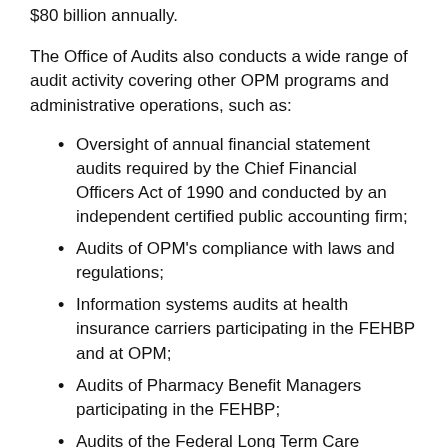$80 billion annually.
The Office of Audits also conducts a wide range of audit activity covering other OPM programs and administrative operations, such as:
Oversight of annual financial statement audits required by the Chief Financial Officers Act of 1990 and conducted by an independent certified public accounting firm;
Audits of OPM's compliance with laws and regulations;
Information systems audits at health insurance carriers participating in the FEHBP and at OPM;
Audits of Pharmacy Benefit Managers participating in the FEHBP;
Audits of the Federal Long Term Care Insurance Program;
Audits of the Flexible Spending Account Program